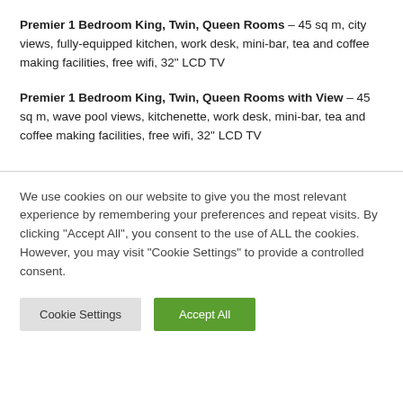Premier 1 Bedroom King, Twin, Queen Rooms – 45 sq m, city views, fully-equipped kitchen, work desk, mini-bar, tea and coffee making facilities, free wifi, 32" LCD TV
Premier 1 Bedroom King, Twin, Queen Rooms with View – 45 sq m, wave pool views, kitchenette, work desk, mini-bar, tea and coffee making facilities, free wifi, 32" LCD TV
We use cookies on our website to give you the most relevant experience by remembering your preferences and repeat visits. By clicking "Accept All", you consent to the use of ALL the cookies. However, you may visit "Cookie Settings" to provide a controlled consent.